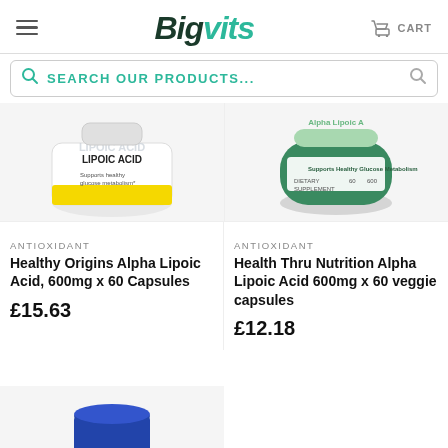[Figure (logo): Bigvits logo with hamburger menu and cart icon in header]
SEARCH OUR PRODUCTS...
[Figure (photo): Healthy Origins Alpha Lipoic Acid 600mg 60 veggie caps white/yellow bottle]
[Figure (photo): Health Thru Nutrition Alpha Lipoic Acid 600mg 60 veggie capsules green bottle]
ANTIOXIDANT
Healthy Origins Alpha Lipoic Acid, 600mg x 60 Capsules
£15.63
ANTIOXIDANT
Health Thru Nutrition Alpha Lipoic Acid 600mg x 60 veggie capsules
£12.18
[Figure (photo): Partial view of a blue supplement bottle cap at bottom of page]